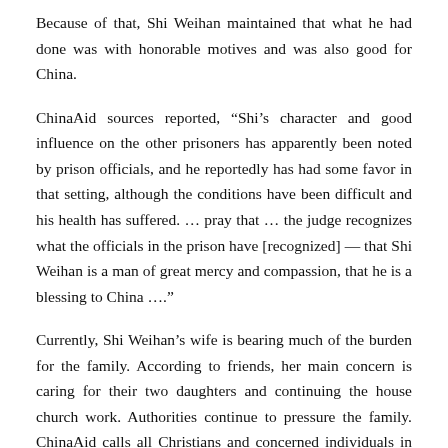Because of that, Shi Weihan maintained that what he had done was with honorable motives and was also good for China.
ChinaAid sources reported, “Shi’s character and good influence on the other prisoners has apparently been noted by prison officials, and he reportedly has had some favor in that setting, although the conditions have been difficult and his health has suffered. … pray that … the judge recognizes what the officials in the prison have [recognized] — that Shi Weihan is a man of great mercy and compassion, that he is a blessing to China ….”
Currently, Shi Weihan’s wife is bearing much of the burden for the family. According to friends, her main concern is caring for their two daughters and continuing the house church work. Authorities continue to pressure the family. ChinaAid calls all Christians and concerned individuals in the international community to speak out on behalf of Shi Weihan and request his